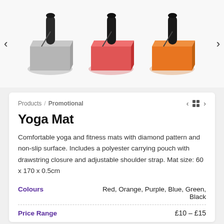[Figure (photo): Product image carousel showing three yoga mats in gray, red, and orange colors, each rolled up with a black carrying pouch and strap. Navigation arrows on left and right sides.]
Products / Promotional
Yoga Mat
Comfortable yoga and fitness mats with diamond pattern and non-slip surface. Includes a polyester carrying pouch with drawstring closure and adjustable shoulder strap. Mat size: 60 x 170 x 0.5cm
|  |  |
| --- | --- |
| Colours | Red, Orange, Purple, Blue, Green, Black |
| Price Range | £10 – £15 |